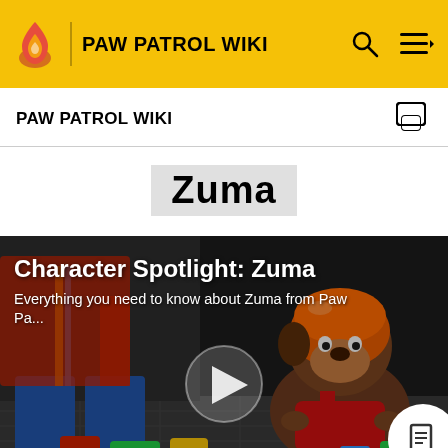PAW PATROL WIKI
Zuma
[Figure (screenshot): Video thumbnail showing Character Spotlight: Zuma from Paw Patrol wiki. Shows Zuma (a chocolate Labrador wearing an orange helmet and red life jacket) on the right side, and a person's torso/legs in jeans on the left. A play button is overlaid in the center. Text overlay reads 'Character Spotlight: Zuma' and 'Everything you need to know about Zuma from Paw Pa...']